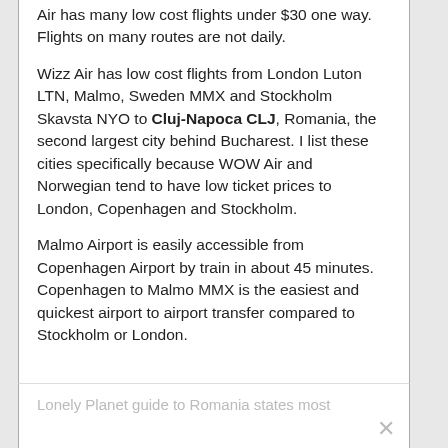Air has many low cost flights under $30 one way. Flights on many routes are not daily.
Wizz Air has low cost flights from London Luton LTN, Malmo, Sweden MMX and Stockholm Skavsta NYO to Cluj-Napoca CLJ, Romania, the second largest city behind Bucharest. I list these cities specifically because WOW Air and Norwegian tend to have low ticket prices to London, Copenhagen and Stockholm.
Malmo Airport is easily accessible from Copenhagen Airport by train in about 45 minutes. Copenhagen to Malmo MMX is the easiest and quickest airport to airport transfer compared to Stockholm or London.
Lonely Planet guide to Romania states most